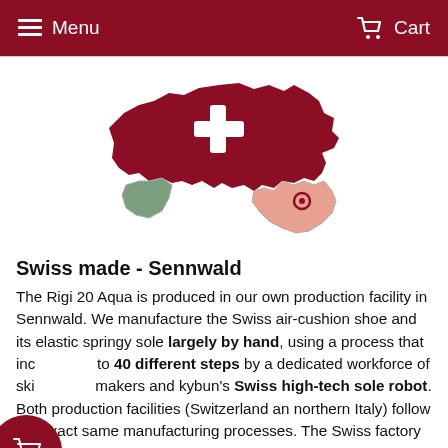Menu   Cart
[Figure (map): Map of Switzerland (dark red with white cross) and northern Italy (green and salmon/pink regions), with two location pin markers indicating production facilities.]
Swiss made - Sennwald
The Rigi 20 Aqua is produced in our own production facility in Sennwald. We manufacture the Swiss air-cushion shoe and its elastic springy sole largely by hand, using a process that includes up to 40 different steps by a dedicated workforce of skilled shoemakers and kybun's Swiss high-tech sole robot. Both production facilities (Switzerland an northern Italy) follow the exact same manufacturing processes. The Swiss factory is